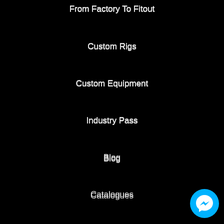From Factory To Fitout
Custom Rigs
Custom Equipment
Industry Pass
Blog
Catalogues
Press
Information
Contact
Finance
Shipping
Returns
Warranty
Career Opportunities
[Figure (illustration): Cyan circular Facebook Messenger chat button icon in bottom right corner]